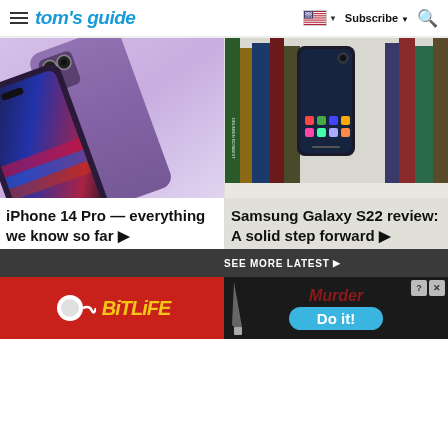tom's guide — Subscribe — Search
[Figure (photo): iPhone 14 Pro in purple/lavender color, showing camera module closeup]
iPhone 14 Pro — everything we know so far ▶
[Figure (photo): Samsung Galaxy S22 smartphone propped against a row of books]
Samsung Galaxy S22 review: A solid step forward ▶
SEE MORE LATEST ▶
[Figure (illustration): BitLife game advertisement with red background and yellow logo]
[Figure (screenshot): Murder Do it! game advertisement with dark background, blue button]